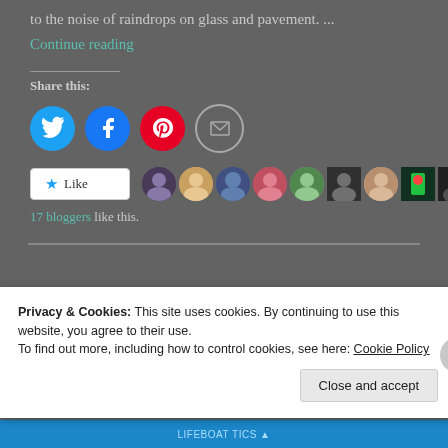to the noise of raindrops on glass and pavement. ...
Continue reading
Share this:
[Figure (infographic): Social share buttons: Twitter (blue circle), Facebook (blue circle), Pinterest (red circle), Email (white circle with envelope icon)]
[Figure (infographic): Like button with star icon and 9 blogger avatar thumbnails]
17 bloggers like this.
Privacy & Cookies: This site uses cookies. By continuing to use this website, you agree to their use.
To find out more, including how to control cookies, see here: Cookie Policy
Close and accept